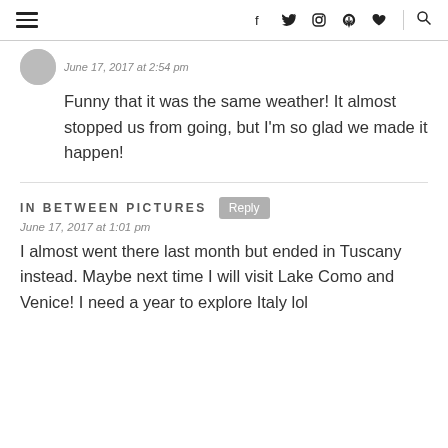Navigation header with hamburger menu, social icons (f, twitter, instagram, pinterest, heart), and search icon
June 17, 2017 at 2:54 pm
Funny that it was the same weather! It almost stopped us from going, but I'm so glad we made it happen!
IN BETWEEN PICTURES
June 17, 2017 at 1:01 pm
I almost went there last month but ended in Tuscany instead. Maybe next time I will visit Lake Como and Venice! I need a year to explore Italy lol